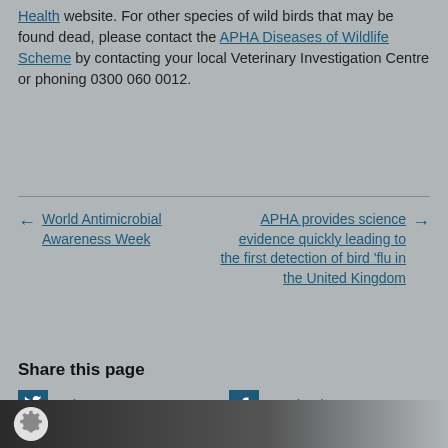Health website. For other species of wild birds that may be found dead, please contact the APHA Diseases of Wildlife Scheme by contacting your local Veterinary Investigation Centre or phoning 0300 060 0012.
← World Antimicrobial Awareness Week
APHA provides science evidence quickly leading to the first detection of bird 'flu in the United Kingdom →
Share this page
Twitter
Facebook
LinkedIn
Email